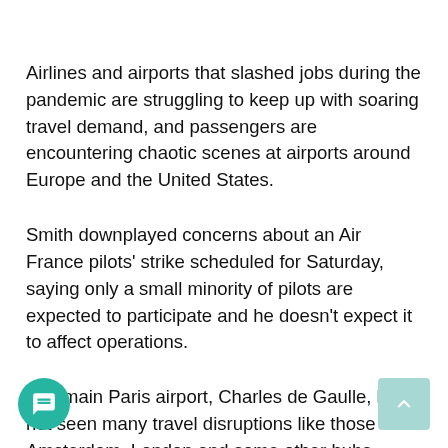Airlines and airports that slashed jobs during the pandemic are struggling to keep up with soaring travel demand, and passengers are encountering chaotic scenes at airports around Europe and the United States.
Smith downplayed concerns about an Air France pilots' strike scheduled for Saturday, saying only a small minority of pilots are expected to participate and he doesn't expect it to affect operations.
The main Paris airport, Charles de Gaulle, has not seen many travel disruptions like those in Amsterdam, London and some other hubs. Smith attributed that to Air France's decision last year to hire hundreds of pilots, mechanics and cabin staff in anticipation of a [surge i]n demand this summer.